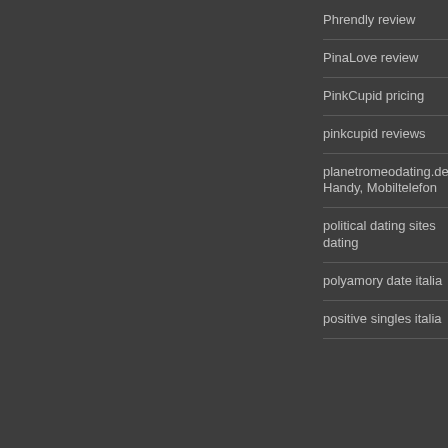Phrendly review
PinaLove review
PinkCupid pricing
pinkcupid reviews
planetromeodating.de Handy, Mobiltelefon
political dating sites dating
polyamory date italia
positive singles italia